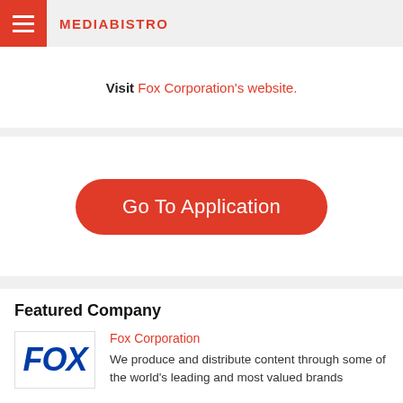MEDIABISTRO
Visit Fox Corporation's website.
Go To Application
Featured Company
Fox Corporation
We produce and distribute content through some of the world's leading and most valued brands